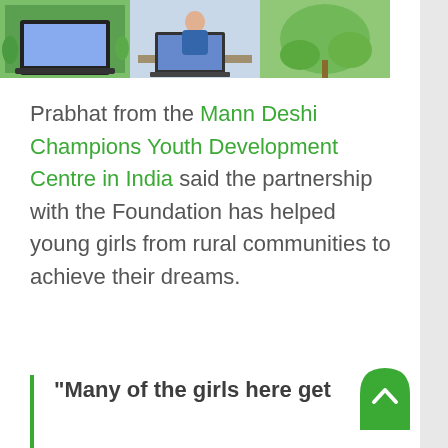[Figure (photo): Photo strip showing a laptop on a desk, a person at a desk, and a plant]
Prabhat from the Mann Deshi Champions Youth Development Centre in India said the partnership with the Foundation has helped young girls from rural communities to achieve their dreams.
“Many of the girls here get